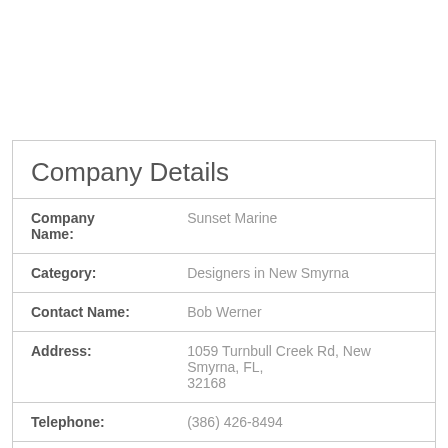| Field | Value |
| --- | --- |
| Company Name: | Sunset Marine |
| Category: | Designers in New Smyrna |
| Contact Name: | Bob Werner |
| Address: | 1059 Turnbull Creek Rd, New Smyrna, FL, 32168 |
| Telephone: | (386) 426-8494 |
| Fax: | N/A |